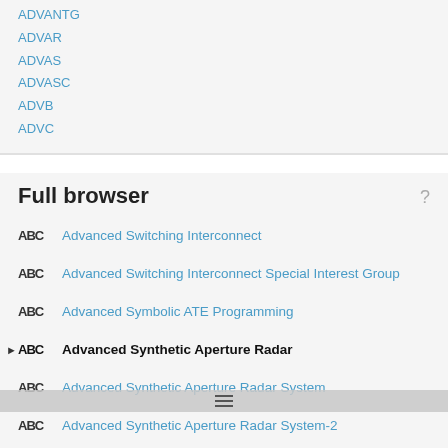ADVANTG
ADVAR
ADVAS
ADVASC
ADVB
ADVC
Full browser
Advanced Switching Interconnect
Advanced Switching Interconnect Special Interest Group
Advanced Symbolic ATE Programming
Advanced Synthetic Aperture Radar
Advanced Synthetic Aperture Radar System
Advanced Synthetic Aperture Radar System-2
Advanced Synthetic Command Forces
Advanced Sysinfo Tool and Reporting Assistant